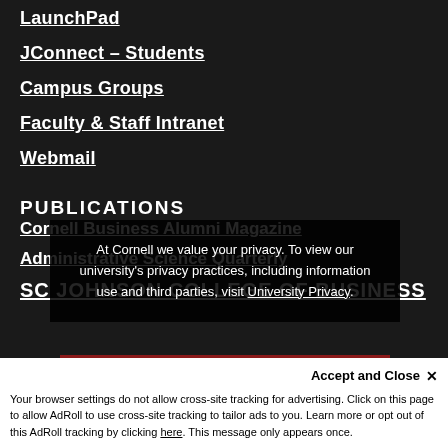LaunchPad
JConnect – Students
Campus Groups
Faculty & Staff Intranet
Webmail
PUBLICATIONS
Cornell Business Alumni Magazine
Administrative Science Quarterly
At Cornell we value your privacy. To view our university's privacy practices, including information use and third parties, visit University Privacy.
SC JOHNSON COLLEGE OF BUSINESS
Thanks for letting me know
Your browser settings do not allow cross-site tracking for advertising. Click on this page to allow AdRoll to use cross-site tracking to tailor ads to you. Learn more or opt out of this AdRoll tracking by clicking here. This message only appears once.